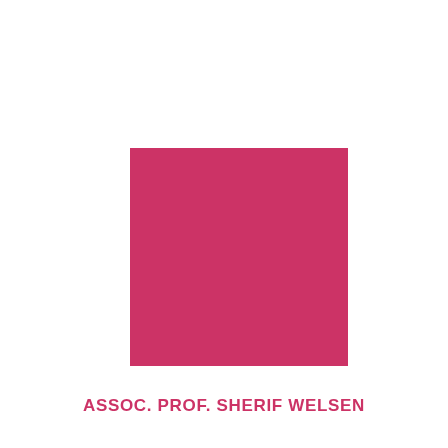[Figure (illustration): A solid pink/crimson square centered horizontally on the upper portion of the page, serving as a decorative or profile placeholder element.]
ASSOC. PROF. SHERIF WELSEN